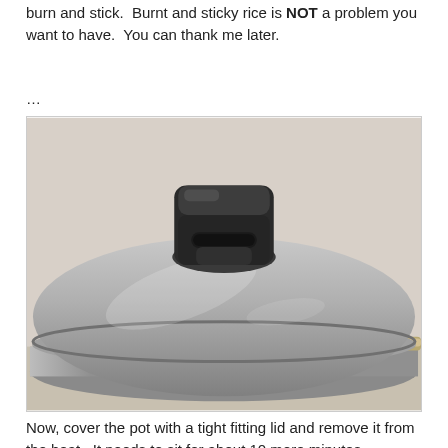burn and stick.  Burnt and sticky rice is NOT a problem you want to have.  You can thank me later.
…
[Figure (photo): Close-up photo of a stainless steel pot with a black plastic handle on the lid, viewed from above and slightly to the side. The lid is domed and metallic silver.]
Now, cover the pot with a tight fitting lid and remove it from the heat.  It needs to sit for about 10 more minutes.